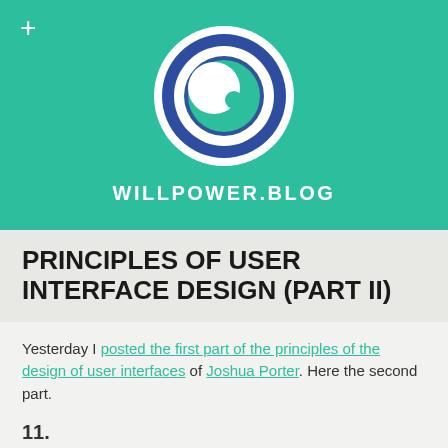[Figure (logo): Circular logo with dark blue outer ring, white inner ring, and a teal crescent moon shape inside on a teal/green background]
WILLPOWER.BLOG
PRINCIPLES OF USER INTERFACE DESIGN (PART II)
Yesterday I posted the first part of the principles of the design of user interfaces of Joshua Porter. Here the second part.
11.